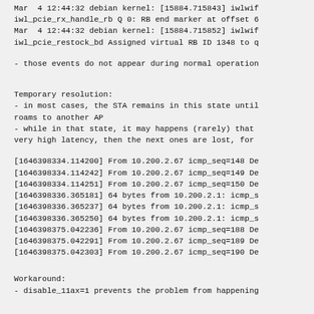Mar  4 12:44:32 debian kernel: [15884.715843] iwlwif
iwl_pcie_rx_handle_rb Q 0: RB end marker at offset 6
Mar  4 12:44:32 debian kernel: [15884.715852] iwlwif
iwl_pcie_restock_bd Assigned virtual RB ID 1348 to q
- those events do not appear during normal operation
Temporary resolution:
- in most cases, the STA remains in this state until
roams to another AP
- while in that state, it may happens (rarely) that
very high latency, then the next ones are lost, for
[1646398334.114200] From 10.200.2.67 icmp_seq=148 De
[1646398334.114242] From 10.200.2.67 icmp_seq=149 De
[1646398334.114251] From 10.200.2.67 icmp_seq=150 De
[1646398336.365181] 64 bytes from 10.200.2.1: icmp_s
[1646398336.365237] 64 bytes from 10.200.2.1: icmp_s
[1646398336.365250] 64 bytes from 10.200.2.1: icmp_s
[1646398375.042236] From 10.200.2.67 icmp_seq=188 De
[1646398375.042291] From 10.200.2.67 icmp_seq=189 De
[1646398375.042303] From 10.200.2.67 icmp_seq=190 De
Workaround:
- disable_11ax=1 prevents the problem from happening
Case attachments: